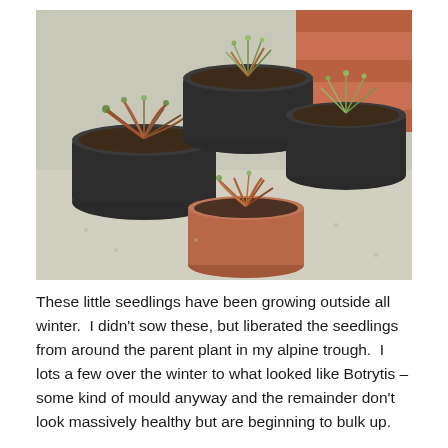[Figure (photo): Photograph of four small plant seedlings growing in separate pots (three dark plastic pots and one small terracotta pot), arranged on a concrete or stone surface with bricks visible in the background. The seedlings have narrow green and reddish-bronze leaves.]
These little seedlings have been growing outside all winter.  I didn't sow these, but liberated the seedlings from around the parent plant in my alpine trough.  I lots a few over the winter to what looked like Botrytis – some kind of mould anyway and the remainder don't look massively healthy but are beginning to bulk up.